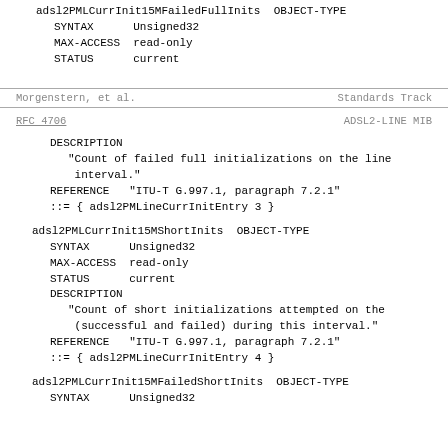adsl2PMLCurrInit15MFailedFullInits  OBJECT-TYPE
    SYNTAX      Unsigned32
    MAX-ACCESS  read-only
    STATUS      current
Morgenstern, et al.          Standards Track
RFC 4706                          ADSL2-LINE MIB
DESCRIPTION
        "Count of failed full initializations on the line
         interval."
    REFERENCE   "ITU-T G.997.1, paragraph 7.2.1"
    ::= { adsl2PMLineCurrInitEntry 3 }
adsl2PMLCurrInit15MShortInits  OBJECT-TYPE
    SYNTAX      Unsigned32
    MAX-ACCESS  read-only
    STATUS      current
    DESCRIPTION
        "Count of short initializations attempted on the
         (successful and failed) during this interval."
    REFERENCE   "ITU-T G.997.1, paragraph 7.2.1"
    ::= { adsl2PMLineCurrInitEntry 4 }
adsl2PMLCurrInit15MFailedShortInits  OBJECT-TYPE
    SYNTAX      Unsigned32